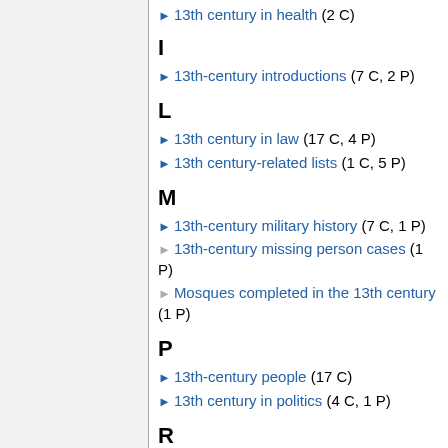▶ 13th century in health (2 C)
I
▶ 13th-century introductions (7 C, 2 P)
L
▶ 13th century in law (17 C, 4 P)
▶ 13th century-related lists (1 C, 5 P)
M
▶ 13th-century military history (7 C, 1 P)
▶ 13th-century missing person cases (1 P)
▶ Mosques completed in the 13th century (1 P)
P
▶ 13th-century people (17 C)
▶ 13th century in politics (4 C, 1 P)
R